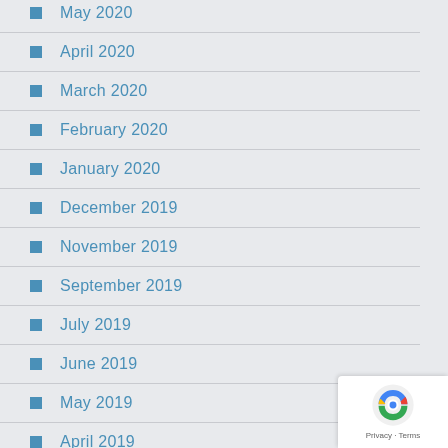May 2020
April 2020
March 2020
February 2020
January 2020
December 2019
November 2019
September 2019
July 2019
June 2019
May 2019
April 2019
February 2019